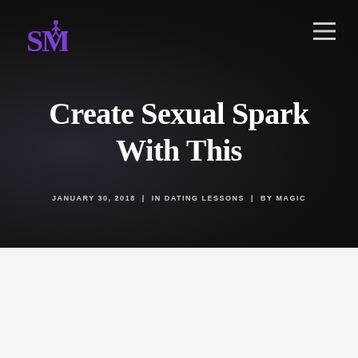[Figure (logo): SM logo in purple on dark background]
[Figure (other): Hamburger menu icon (three horizontal lines) in white on dark background]
Create Sexual Spark With This
JANUARY 30, 2018  |  IN DATING LESSONS  |  BY MAGIC